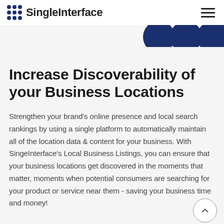SingleInterface
Increase Discoverability of your Business Locations
Strengthen your brand's online presence and local search rankings by using a single platform to automatically maintain all of the location data & content for your business. With SingeInterface's Local Business Listings, you can ensure that your business locations get discovered in the moments that matter, moments when potential consumers are searching for your product or service near them - saving your business time and money!